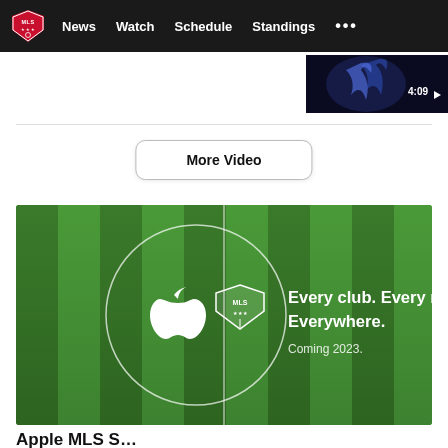MLS — News  Watch  Schedule  Standings  ...
[Figure (screenshot): Video thumbnail showing a soccer-related clip, duration 4:09]
More Video
[Figure (illustration): Apple + MLS partnership banner on a green soccer field background with circle containing Apple logo and MLS shield logo. Text: Every club. Every match. Everywhere. Coming 2023.]
Every club. Every match. Everywhere. Coming 2023.